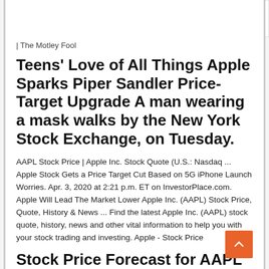| The Motley Fool
Teens' Love of All Things Apple Sparks Piper Sandler Price-Target Upgrade A man wearing a mask walks by the New York Stock Exchange, on Tuesday.
AAPL Stock Price | Apple Inc. Stock Quote (U.S.: Nasdaq ... Apple Stock Gets a Price Target Cut Based on 5G iPhone Launch Worries. Apr. 3, 2020 at 2:21 p.m. ET on InvestorPlace.com. Apple Will Lead The Market Lower Apple Inc. (AAPL) Stock Price, Quote, History & News ... Find the latest Apple Inc. (AAPL) stock quote, history, news and other vital information to help you with your stock trading and investing. Apple - Stock Price
Stock Price Forecast for AAPL